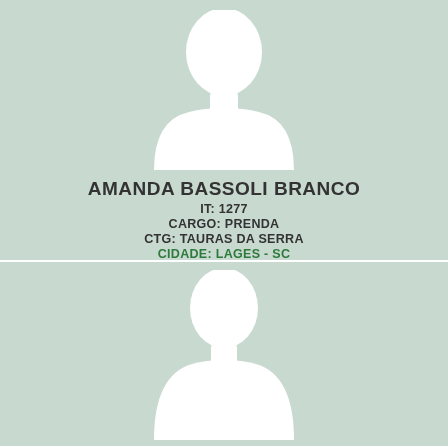[Figure (illustration): Placeholder silhouette of a person (head and shoulders) on a light green/mint background, top card]
AMANDA BASSOLI BRANCO
IT: 1277
CARGO: PRENDA
CTG: TAURAS DA SERRA
CIDADE: LAGES - SC
[Figure (illustration): Placeholder silhouette of a person (head and shoulders) on a light green/mint background, bottom card]